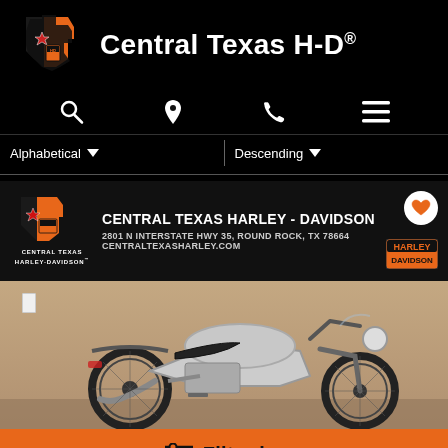Central Texas H-D®
[Figure (logo): Central Texas Harley-Davidson logo: Texas state outline in black and orange with a red star]
[Figure (screenshot): Navigation bar with search, location pin, phone, and hamburger menu icons]
Alphabetical ▾    Descending ▾
[Figure (logo): Central Texas Harley-Davidson dealer logo with Texas state shape]
CENTRAL TEXAS HARLEY - DAVIDSON
2801 N INTERSTATE HWY 35, ROUND ROCK, TX 78664
CENTRALTEXASHARLEY.COM
[Figure (photo): Harley-Davidson motorcycle (Iron 883 style) in silver/gray color displayed in a showroom with a tan/beige wall background]
Filter by